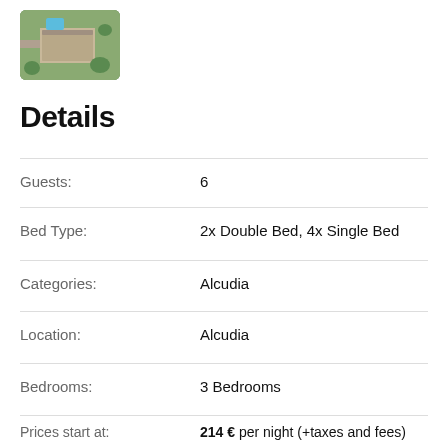[Figure (photo): Aerial/top-down photo of a property with a swimming pool and surrounding greenery]
Details
| Field | Value |
| --- | --- |
| Guests: | 6 |
| Bed Type: | 2x Double Bed, 4x Single Bed |
| Categories: | Alcudia |
| Location: | Alcudia |
| Bedrooms: | 3 Bedrooms |
Prices start at:  214 € per night (+taxes and fees)